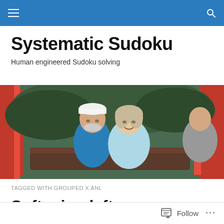Navigation bar with hamburger menu and search icon
Systematic Sudoku
Human engineered Sudoku solving
[Figure (photo): Two elderly people smiling, seated in what appears to be a red open-air vehicle or ride. The man wears a white cap and blue jacket, the woman wears a light blue jacket.]
TAGGED WITH GROUPED X ANL
Softening left page ultrahardcore 353
Follow ...